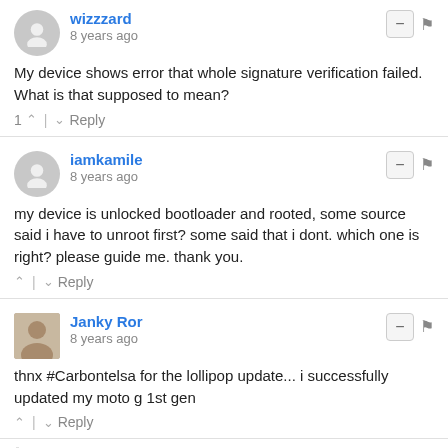wizzzard · 8 years ago
My device shows error that whole signature verification failed. What is that supposed to mean?
1 ↑ | ↓ Reply
iamkamile · 8 years ago
my device is unlocked bootloader and rooted, some source said i have to unroot first? some said that i dont. which one is right? please guide me. thank you.
↑ | ↓ Reply
Janky Ror · 8 years ago
thnx #Carbontelsa for the lollipop update... i successfully updated my moto g 1st gen
↑ | ↓ Reply
Gauruv Grover → Janky Ror · 8 years ago
does your device need to have an unlocked bootloader...